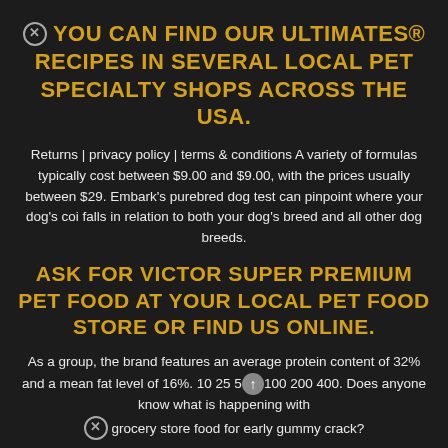YOU CAN FIND OUR ULTIMATES® RECIPES IN SEVERAL LOCAL PET SPECIALTY SHOPS ACROSS THE USA.
Returns | privacy policy | terms & conditions A variety of formulas typically cost between $9.00 and $9.00, with the prices usually between $29. Embark's purebred dog test can pinpoint where your dog's coi falls in relation to both your dog's breed and all other dog breeds.
ASK FOR VICTOR SUPER PREMIUM PET FOOD AT YOUR LOCAL PET FOOD STORE OR FIND US ONLINE.
As a group, the brand features an average protein content of 32% and a mean fat level of 16%. 10 25 51 100 200 400. Does anyone know what is happening with grocery store food for early gummy crack?